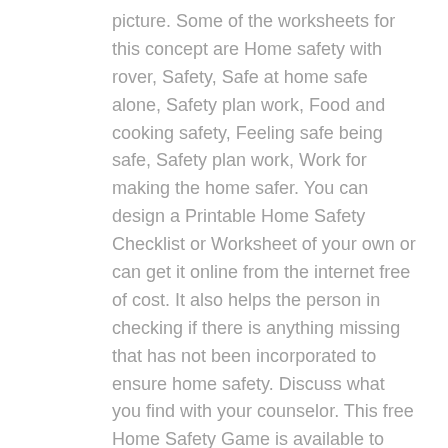picture. Some of the worksheets for this concept are Home safety with rover, Safety, Safe at home safe alone, Safety plan work, Food and cooking safety, Feeling safe being safe, Safety plan work, Work for making the home safer. You can design a Printable Home Safety Checklist or Worksheet of your own or can get it online from the internet free of cost. It also helps the person in checking if there is anything missing that has not been incorporated to ensure home safety. Discuss what you find with your counselor. This free Home Safety Game is available to play on-line and it's a fun and engaging way for children to understand what dangers may exist around the home, how to spot them and how to remedy them. The book is accompanied by a leader's guide. There's also a grid for kids and parents to work out a fire action plan. To help warn about burns, scalds and fire you'll join Home Safety Hound Code Red Rover and his buddy Freddie Flashlight on a room-by room home tour to help them spot hot items and learn when to alert an adult. Print worksheets to teach